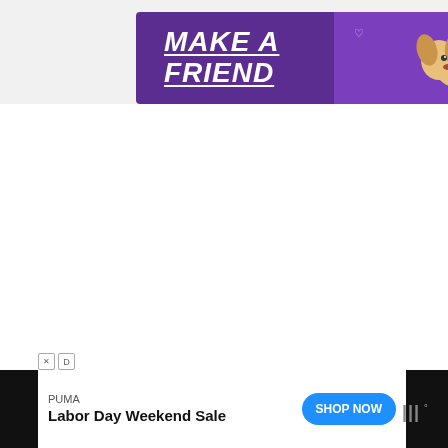[Figure (screenshot): Purple advertisement banner reading MAKE A FRIEND with a dog illustration and heart icons, with close button]
[Figure (screenshot): White content area with golden heart button showing 434 likes, a share button, and a What's Next card showing Lier - Belgium Off the Beat... with a church thumbnail]
[Figure (screenshot): Bottom advertisement bar for PUMA Labor Day Weekend Sale with Shop Now button and Wattpad logo]